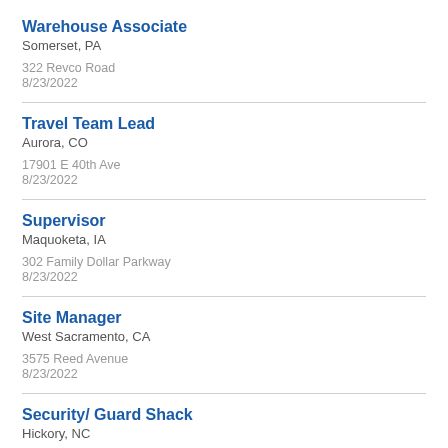Warehouse Associate
Somerset, PA
322 Revco Road
8/23/2022
Travel Team Lead
Aurora, CO
17901 E 40th Ave
8/23/2022
Supervisor
Maquoketa, IA
302 Family Dollar Parkway
8/23/2022
Site Manager
West Sacramento, CA
3575 Reed Avenue
8/23/2022
Security/ Guard Shack
Hickory, NC
543 12th Street Drive Northwest
8/23/2022
Warehouse Associate